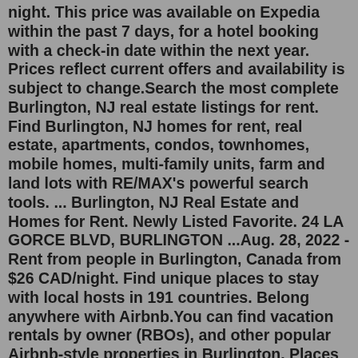night. This price was available on Expedia within the past 7 days, for a hotel booking with a check-in date within the next year. Prices reflect current offers and availability is subject to change.Search the most complete Burlington, NJ real estate listings for rent. Find Burlington, NJ homes for rent, real estate, apartments, condos, townhomes, mobile homes, multi-family units, farm and land lots with RE/MAX's powerful search tools. ... Burlington, NJ Real Estate and Homes for Rent. Newly Listed Favorite. 24 LA GORCE BLVD, BURLINGTON ...Aug. 28, 2022 - Rent from people in Burlington, Canada from $26 CAD/night. Find unique places to stay with local hosts in 191 countries. Belong anywhere with Airbnb.You can find vacation rentals by owner (RBOs), and other popular Airbnb-style properties in Burlington. Places to stay near Burlington are 827.87 ft² on average, with prices averaging $216 a night. RentByOwner makes it easy and safe to find and compare vacation rentals in